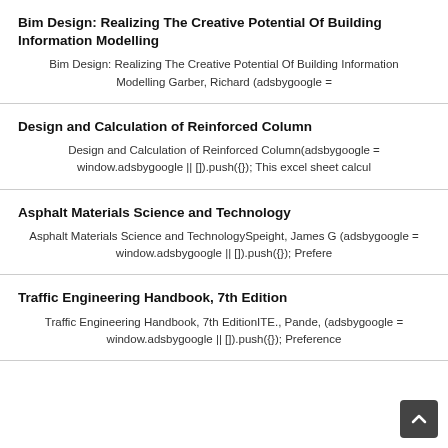Bim Design: Realizing The Creative Potential Of Building Information Modelling
Bim Design: Realizing The Creative Potential Of Building Information Modelling Garber, Richard (adsbygoogle =
Design and Calculation of Reinforced Column
Design and Calculation of Reinforced Column(adsbygoogle = window.adsbygoogle || []).push({}); This excel sheet calcul
Asphalt Materials Science and Technology
Asphalt Materials Science and TechnologySpeight, James G (adsbygoogle = window.adsbygoogle || []).push({}); Prefere
Traffic Engineering Handbook, 7th Edition
Traffic Engineering Handbook, 7th EditionITE., Pande, (adsbygoogle = window.adsbygoogle || []).push({}); Preference